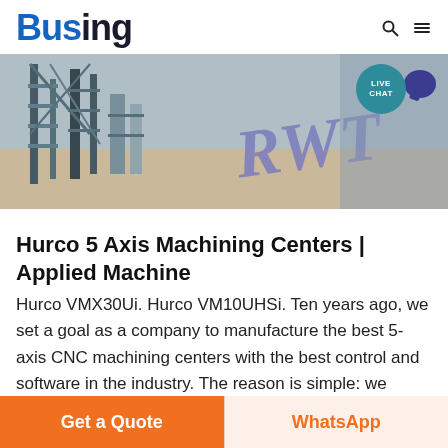Busing
[Figure (photo): Industrial machinery or fabricated metal structures with 'RWT' written in cursive purple/blue lettering on the right side. A 'LIVE CHAT' bubble with speech icon is overlaid in the top-right corner.]
Hurco 5 Axis Machining Centers | Applied Machine
Hurco VMX30Ui. Hurco VM10UHSi. Ten years ago, we set a goal as a company to manufacture the best 5-axis CNC machining centers with the best control and software in the industry. The reason is simple: we
Get a Quote
WhatsApp